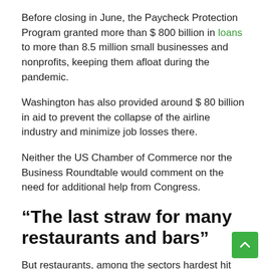Before closing in June, the Paycheck Protection Program granted more than $ 800 billion in loans to more than 8.5 million small businesses and nonprofits, keeping them afloat during the pandemic.
Washington has also provided around $ 80 billion in aid to prevent the collapse of the airline industry and minimize job losses there.
Neither the US Chamber of Commerce nor the Business Roundtable would comment on the need for additional help from Congress.
“The last straw for many restaurants and bars”
But restaurants, among the sectors hardest hit during the pandemic, demand that Congress provide support to help them weather Storm Omicron.